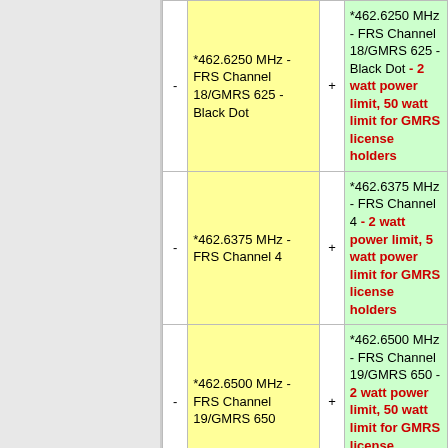| - | *462.6250 MHz - FRS Channel 18/GMRS 625 - Black Dot | + | *462.6250 MHz - FRS Channel 18/GMRS 625 - Black Dot - 2 watt power limit, 50 watt limit for GMRS license holders |
| - | *462.6375 MHz - FRS Channel 4 | + | *462.6375 MHz - FRS Channel 4 - 2 watt power limit, 5 watt power limit for GMRS license holders |
| - | *462.6500 MHz - FRS Channel 19/GMRS 650 | + | *462.6500 MHz - FRS Channel 19/GMRS 650 - 2 watt power limit, 50 watt limit for GMRS license holders |
| - | *462.6625 MHz - FRS Channel 5 | + | *462.6625 MHz - FRS Channel 5 - 2 watt power limit, 5 watt power limit for GMRS license holders |
| - | *462.6750 MHz - FRS Channel 20/GMRS 675 | + | ... |